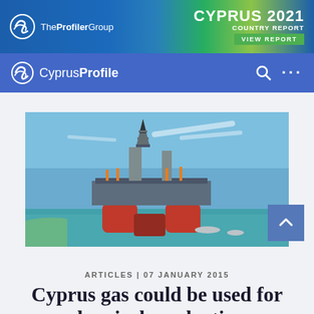[Figure (logo): TheProfilerGroup banner ad with Cyprus 2021 Country Report text and VIEW REPORT button]
CyprusProfile
[Figure (photo): Offshore oil drilling platform/rig on the sea under blue sky]
ARTICLES | 07 JANUARY 2015
Cyprus gas could be used for chemical production